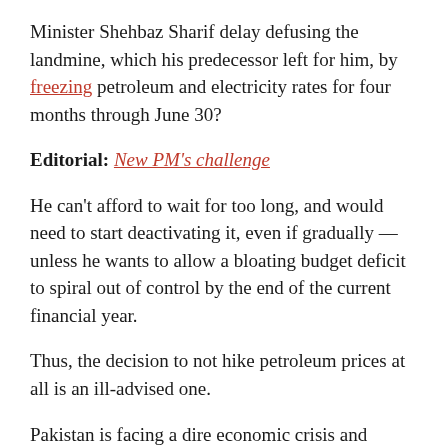Minister Shehbaz Sharif delay defusing the landmine, which his predecessor left for him, by freezing petroleum and electricity rates for four months through June 30?
Editorial: New PM's challenge
He can't afford to wait for too long, and would need to start deactivating it, even if gradually — unless he wants to allow a bloating budget deficit to spiral out of control by the end of the current financial year.
Thus, the decision to not hike petroleum prices at all is an ill-advised one.
Pakistan is facing a dire economic crisis and populist policies made under political pressure are certainly not going to help anyone in the long run — least of all the people benefiting from them. At the end of the day, the beneficiaries always end up